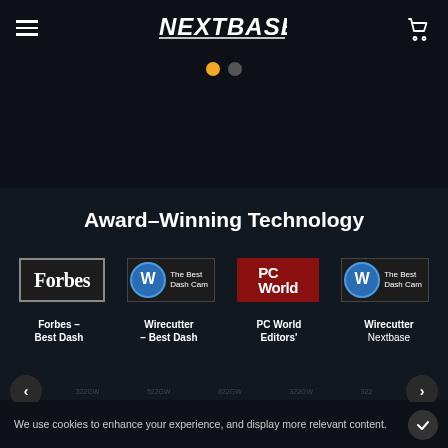NEXTBASE
Award-Winning Technology
[Figure (logo): Forbes logo in bordered box]
[Figure (logo): Wirecutter Best Dash Cam badge]
[Figure (logo): PC World logo in red box]
[Figure (logo): Wirecutter Best Dash Cam badge]
Forbes - Best Dash
Wirecutter - Best Dash
PC World Editors'
Wirecutter Nextbase
We use cookies to enhance your experience, and display more relevant content.